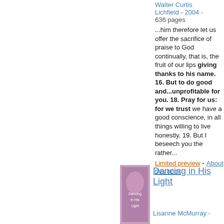Walter Curtis Lichfield - 2004 - 636 pages
...him therefore let us offer the sacrifice of praise to God continually, that is, the fruit of our lips giving thanks to his name. 16. But to do good and...unprofitable for you. 18. Pray for us: for we trust we have a good conscience, in all things willing to live honestly. 19. But I beseech you the rather...
Limited preview - About this book
Dancing in His Light
Lisanne McMurray -